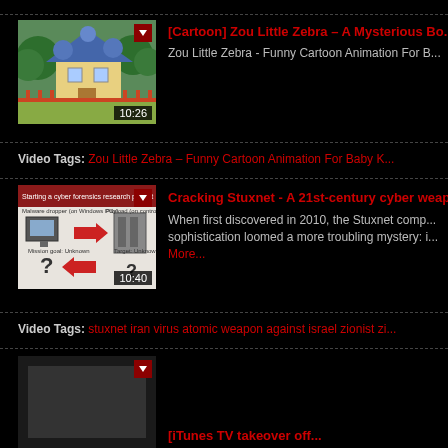[Figure (screenshot): Video thumbnail for Zou Little Zebra cartoon, showing animated colorful house and trees, duration 10:26]
[Cartoon] Zou Little Zebra – A Mysterious Bo...
Zou Little Zebra - Funny Cartoon Animation For B...
Video Tags: Zou Little Zebra – Funny Cartoon Animation For Baby K...
[Figure (screenshot): Video thumbnail for Cracking Stuxnet cyber weapons video, showing malware dropper diagram with question marks and arrows, duration 10:40]
Cracking Stuxnet - A 21st-century cyber weap...
When first discovered in 2010, the Stuxnet comp... sophistication loomed a more troubling mystery: i... More...
Video Tags: stuxnet iran virus atomic weapon against israel zionist zi...
[Figure (screenshot): Partially visible video thumbnail at bottom of page]